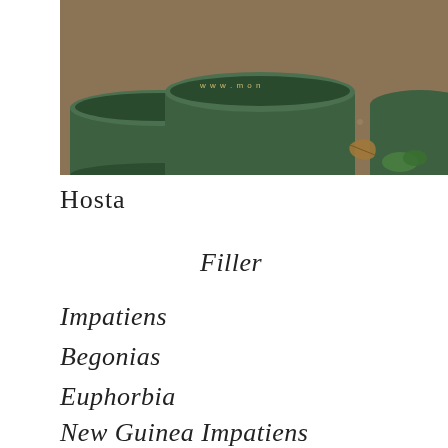[Figure (photo): Close-up photo of green garden pots or planters on a gravel/mulch surface with dried leaves, showing partial text 'www.mon...' on one pot.]
Hosta
Filler
Impatiens
Begonias
Euphorbia
New Guinea Impatiens